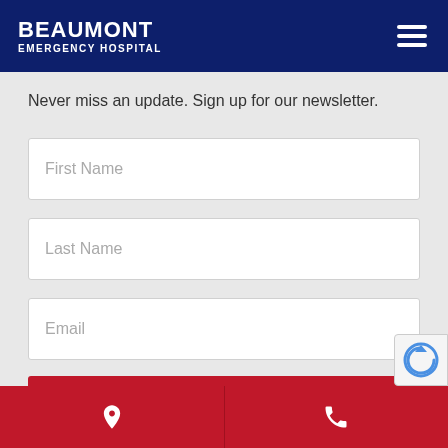BEAUMONT EMERGENCY HOSPITAL
Never miss an update. Sign up for our newsletter.
First Name
Last Name
Email
CAPTCHA
Submit